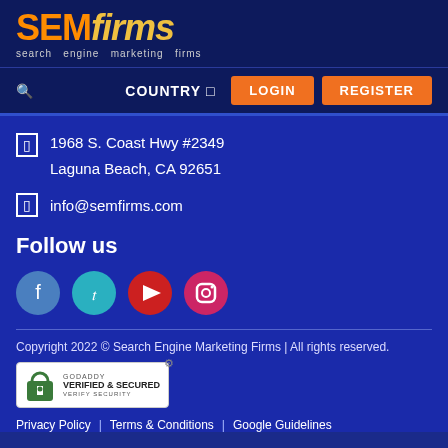[Figure (logo): SEMfirms logo with orange 'SEM' and yellow italic 'firms', tagline 'search engine marketing firms']
COUNTRY   LOGIN   REGISTER
1968 S. Coast Hwy #2349
Laguna Beach, CA 92651
info@semfirms.com
Follow us
[Figure (illustration): Four social media circles: Facebook (blue), Twitter (teal), YouTube (red), Instagram (pink-red)]
Copyright 2022 © Search Engine Marketing Firms | All rights reserved.
[Figure (logo): GoDaddy Verified & Secured badge with lock icon and 'VERIFY SECURITY' text]
Privacy Policy  |  Terms & Conditions  |  Google Guidelines